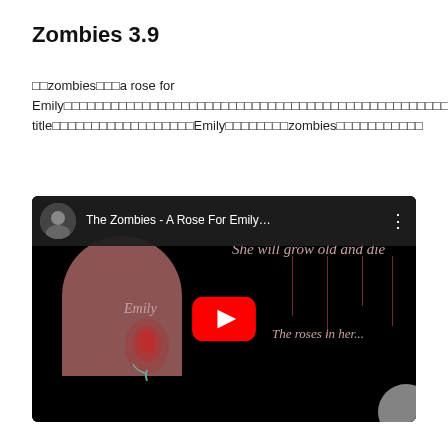Zombies 3.9
□□zombies□□□a rose for Emily□□□□□□□□□□□□□□□□□□□□□□□□□□□□□□□□□□□□□□□□□□□□□□□□□□□□□Emily□□□□□□□□□□□□□□□□□□□□□□□□□□□□□□wiki□allegorical title□□□□□□□□□□□□□□□□□□Emily□□□□□□□□zombies□□□□□□□□□□□
[Figure (screenshot): YouTube video thumbnail for 'The Zombies - A Rose For Emily...' showing a tombstone with EMILY written on it, a rose design, and song lyrics 'She will grow old and die' and 'The roses in her...' in pink/rose text on a dark background. A YouTube play button is centered on the image with the channel avatar and title in the top bar.]